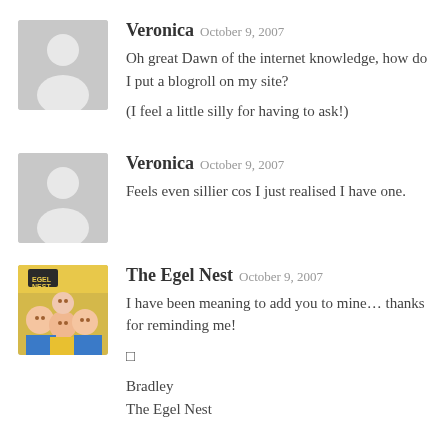Veronica  October 9, 2007
Oh great Dawn of the internet knowledge, how do I put a blogroll on my site?

(I feel a little silly for having to ask!)
Veronica  October 9, 2007
Feels even sillier cos I just realised I have one.
The Egel Nest  October 9, 2007
I have been meaning to add you to mine… thanks for reminding me!

[]

Bradley
The Egel Nest